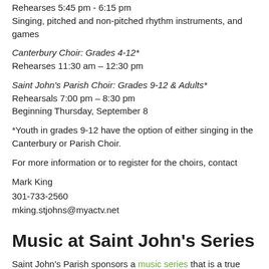Rehearses 5:45 pm - 6:15 pm
Singing, pitched and non-pitched rhythm instruments, and games
Canterbury Choir: Grades 4-12*
Rehearse 11:30 am – 12:30 pm
Saint John's Parish Choir: Grades 9-12 & Adults*
Rehearsals 7:00 pm – 8:30 pm
Beginning Thursday, September 8
*Youth in grades 9-12 have the option of either singing in the Canterbury or Parish Choir.
For more information or to register for the choirs, contact
Mark King
301-733-2560
mking.stjohns@myactv.net
Music at Saint John's Series
Saint John's Parish sponsors a music series that is a true outreach ministry that draws those who appreciate fine music